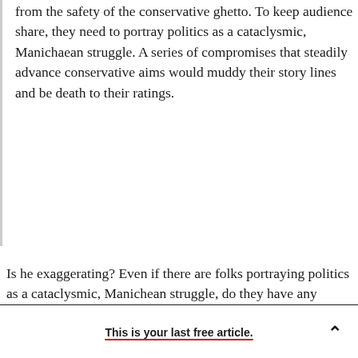from the safety of the conservative ghetto. To keep audience share, they need to portray politics as a cataclysmic, Manichaean struggle. A series of compromises that steadily advance conservative aims would muddy their story lines and be death to their ratings.
Is he exaggerating? Even if there are folks portraying politics as a cataclysmic, Manichean struggle, do they have any influence?
This is your last free article.